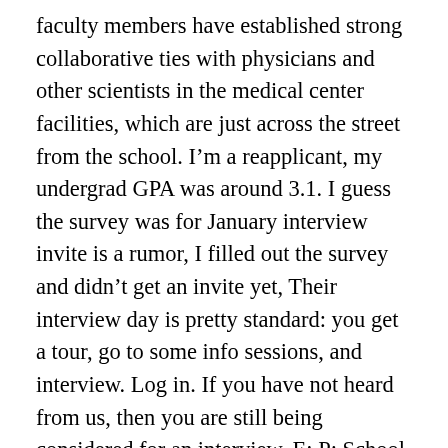faculty members have established strong collaborative ties with physicians and other scientists in the medical center facilities, which are just across the street from the school. I'm a reapplicant, my undergrad GPA was around 3.1. I guess the survey was for January interview invite is a rumor, I filled out the survey and didn't get an invite yet, Their interview day is pretty standard: you get a tour, go to some info sessions, and interview. Log in. If you have not heard from us, then you are still being considered for an interview. E: P: School of Dental Medicine Class of 2020 10900 Euclid Ave Cleveland, Ohio, 44106 United States And what are your stats like if you dont mind me asking! Because oral health is an important